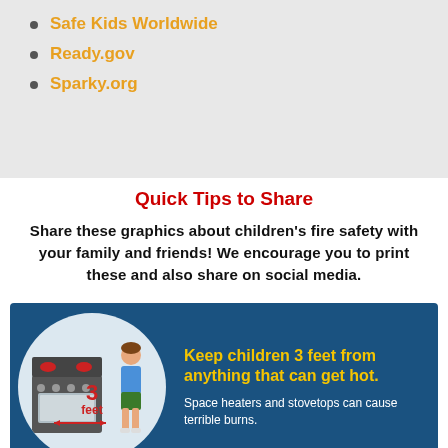Safe Kids Worldwide
Ready.gov
Sparky.org
Quick Tips to Share
Share these graphics about children’s fire safety with your family and friends! We encourage you to print these and also share on social media.
[Figure (infographic): Blue infographic card showing a stove and a child figure with '3 feet' distance marked with arrows, and text: 'Keep children 3 feet from anything that can get hot. Space heaters and stovetops can cause terrible burns.']